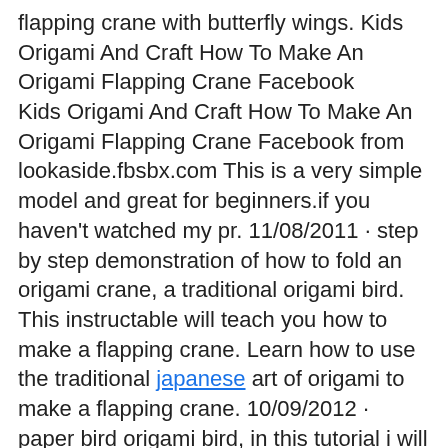flapping crane with butterfly wings. Kids Origami And Craft How To Make An Origami Flapping Crane Facebook
Kids Origami And Craft How To Make An Origami Flapping Crane Facebook from lookaside.fbsbx.com This is a very simple model and great for beginners.if you haven't watched my pr. 11/08/2011 · step by step demonstration of how to fold an origami crane, a traditional origami bird. This instructable will teach you how to make a flapping crane. Learn how to use the traditional japanese art of origami to make a flapping crane. 10/09/2012 · paper bird origami bird, in this tutorial i will show you how to make an origami paper bird, origami flapping bird crane flying, in a few minute.in this tuto. This is a video showing how to fold a flapping crane using origami techniques and paper. 24/01/2012 · this is a simplified version of the sma flapping crane. 27/12/2020 · this is an another version of origami flapping crane with butterfly wings.